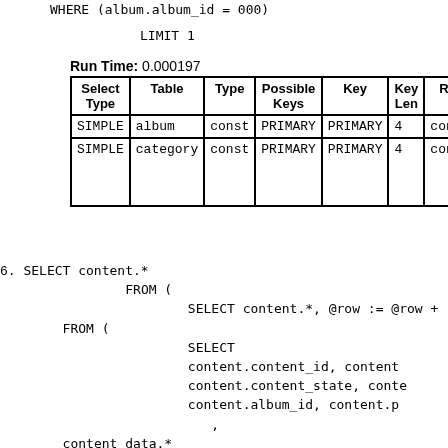WHERE (album.album_id = 000)
LIMIT 1
Run Time: 0.000197
| Select Type | Table | Type | Possible Keys | Key | Key Len | Ref |  |
| --- | --- | --- | --- | --- | --- | --- | --- |
| SIMPLE | album | const | PRIMARY | PRIMARY | 4 | const |  |
| SIMPLE | category | const | PRIMARY | PRIMARY | 4 | const |  |
6. SELECT content.*
                FROM (
                        SELECT content.*, @row := @row +
        FROM (
                        SELECT
                        content.content_id, content
                        content.content_state, conte
                        content.album_id, content.p
                           ,
        content_data.*
            FROM `sonnb_xengallery_content` AS conte

        INNER JOIN `sonnb_xengallery_content_data` A
                (content.content_data_id = content_
              WHERE (content.album_id = 000) AND (